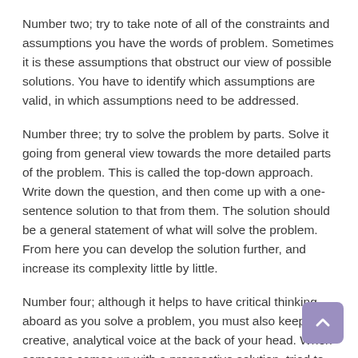Number two; try to take note of all of the constraints and assumptions you have the words of problem. Sometimes it is these assumptions that obstruct our view of possible solutions. You have to identify which assumptions are valid, in which assumptions need to be addressed.
Number three; try to solve the problem by parts. Solve it going from general view towards the more detailed parts of the problem. This is called the top-down approach. Write down the question, and then come up with a one-sentence solution to that from them. The solution should be a general statement of what will solve the problem. From here you can develop the solution further, and increase its complexity little by little.
Number four; although it helps to have critical thinking aboard as you solve a problem, you must also keep a creative, analytical voice at the back of your head. When someone comes up with a prospective solution, tried to think how you could make that solution work. Try to be creative. At the same time, look for chinks in the armor of that solution.